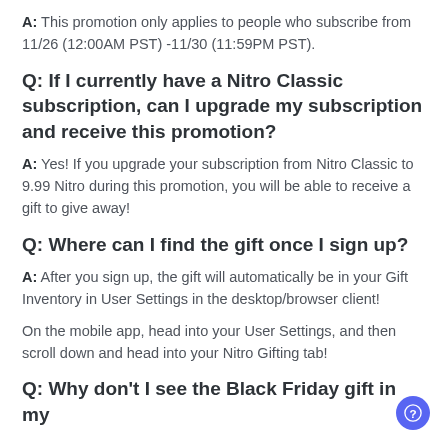A: This promotion only applies to people who subscribe from 11/26 (12:00AM PST) -11/30 (11:59PM PST).
Q: If I currently have a Nitro Classic subscription, can I upgrade my subscription and receive this promotion?
A: Yes! If you upgrade your subscription from Nitro Classic to 9.99 Nitro during this promotion, you will be able to receive a gift to give away!
Q: Where can I find the gift once I sign up?
A: After you sign up, the gift will automatically be in your Gift Inventory in User Settings in the desktop/browser client!
On the mobile app, head into your User Settings, and then scroll down and head into your Nitro Gifting tab!
Q: Why don't I see the Black Friday gift in my